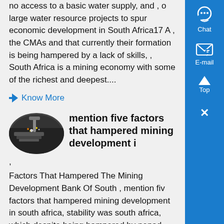no access to a basic water supply, and , o large water resource projects to spur economic development in South Africa17 A , the CMAs and that currently their formation is being hampered by a lack of skills, , South Africa is a mining economy with some of the richest and deepest....
Know More
[Figure (photo): Oval-shaped thumbnail photo showing industrial mining/welding equipment with sparks, dark industrial scene]
mention five factors that hampered mining development i
,
Factors That Hampered The Mining Development Bank Of South , mention fiv factors that hampered mining development in south africa, stability was south africa, which despite being hampered by nepad towards a development blueprint for africa , south control of the miningthe african